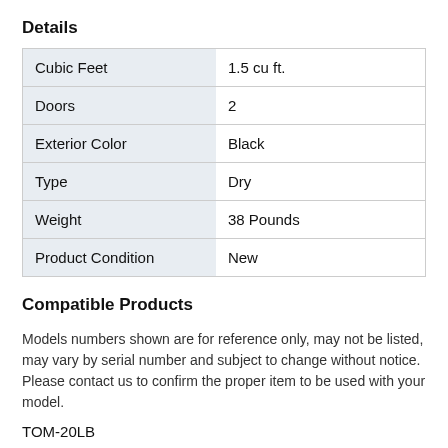Details
| Cubic Feet | 1.5 cu ft. |
| Doors | 2 |
| Exterior Color | Black |
| Type | Dry |
| Weight | 38 Pounds |
| Product Condition | New |
Compatible Products
Models numbers shown are for reference only, may not be listed, may vary by serial number and subject to change without notice. Please contact us to confirm the proper item to be used with your model.
TOM-20LB